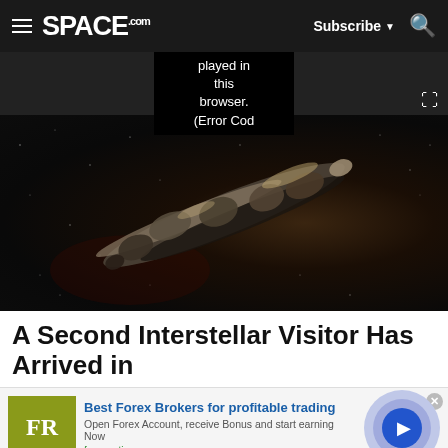SPACE.com — Subscribe, Search
played in this browser. (Error Cod
[Figure (photo): Artist illustration of Oumuamua, an elongated rocky interstellar object, against a dark starfield background.]
A Second Interstellar Visitor Has Arrived in
[Figure (infographic): Advertisement for forex-ratings.com — Best Forex Brokers for profitable trading. FR logo in olive/yellow green. Open Forex Account, receive Bonus and start earning Now. forex-ratings.com]